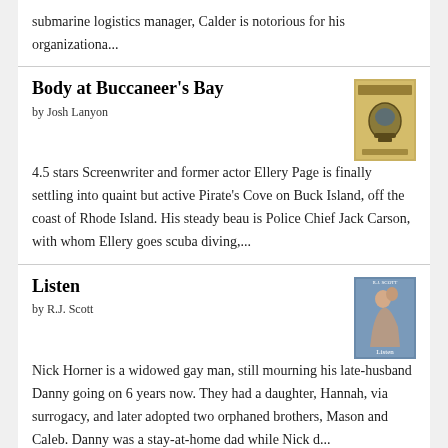submarine logistics manager, Calder is notorious for his organizationa...
Body at Buccaneer's Bay
by Josh Lanyon
[Figure (photo): Book cover for Body at Buccaneer's Bay - gold/yellow cover with diving helmet]
4.5 stars Screenwriter and former actor Ellery Page is finally settling into quaint but active Pirate's Cove on Buck Island, off the coast of Rhode Island. His steady beau is Police Chief Jack Carson, with whom Ellery goes scuba diving,...
Listen
by R.J. Scott
[Figure (photo): Book cover for Listen by R.J. Scott - shows two people embracing]
Nick Horner is a widowed gay man, still mourning his late-husband Danny going on 6 years now. They had a daughter, Hannah, via surrogacy, and later adopted two orphaned brothers, Mason and Caleb. Danny was a stay-at-home dad while Nick d...